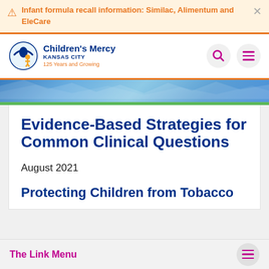Infant formula recall information: Similac, Alimentum and EleCare
[Figure (logo): Children's Mercy Kansas City hospital logo with figure icon and text '125 Years and Growing']
[Figure (illustration): Blue banner decorative strip with green accent bar at bottom]
Evidence-Based Strategies for Common Clinical Questions
August 2021
Protecting Children from Tobacco
The Link Menu